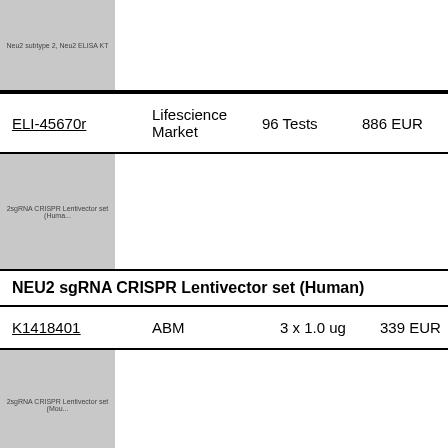[Figure (photo): Partial product thumbnail image with text 'Neu2 subtype 2, Neu2 ELISA KT']
| Product ID | Supplier | Quantity | Price |
| --- | --- | --- | --- |
| ELI-45670r | Lifescience Market | 96 Tests | 886 EUR |
[Figure (photo): Product thumbnail image with text '2sgRNA CRISPR Lentivector set (Huma...']
NEU2 sgRNA CRISPR Lentivector set (Human)
| Product ID | Supplier | Quantity | Price |
| --- | --- | --- | --- |
| K1418401 | ABM | 3 x 1.0 ug | 339 EUR |
[Figure (photo): Product thumbnail image with text '2sgRNA CRISPR Lentivector set (Mou...']
Neu2 sgRNA CRISPR Lentivector set (Mouse)